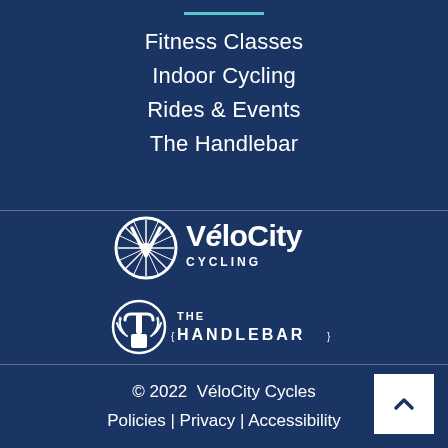Fitness Classes
Indoor Cycling
Rides & Events
The Handlebar
[Figure (logo): VéloCity Cycling logo — white circular bike wheel emblem with stylized V, text VéloCity CYCLING]
[Figure (logo): The Handlebar logo — white stylized handlebar icon with wheat/leaf decoration and text THE HANDLEBAR]
© 2022  VéloCity Cycles
Policies | Privacy | Accessibility